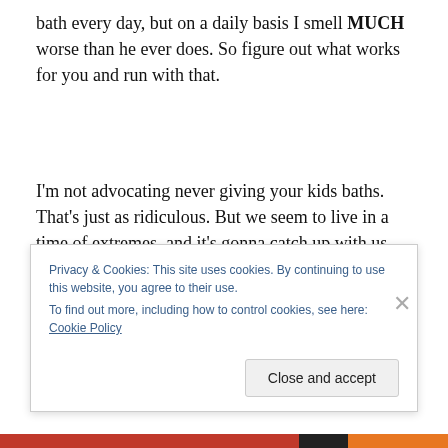bath every day, but on a daily basis I smell MUCH worse than he ever does. So figure out what works for you and run with that.
I'm not advocating never giving your kids baths. That's just as ridiculous. But we seem to live in a time of extremes, and it's gonna catch up with us.
I think that...
Privacy & Cookies: This site uses cookies. By continuing to use this website, you agree to their use.
To find out more, including how to control cookies, see here: Cookie Policy
Close and accept